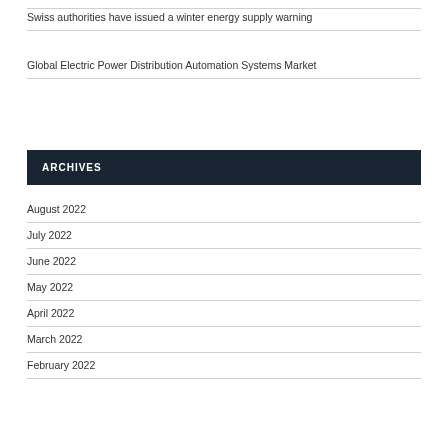Swiss authorities have issued a winter energy supply warning
Global Electric Power Distribution Automation Systems Market
ARCHIVES
August 2022
July 2022
June 2022
May 2022
April 2022
March 2022
February 2022